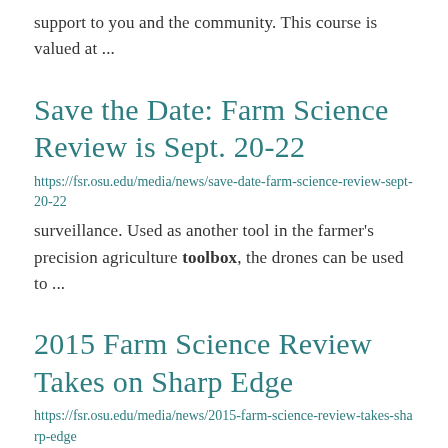support to you and the community. This course is valued at ...
Save the Date: Farm Science Review is Sept. 20-22
https://fsr.osu.edu/media/news/save-date-farm-science-review-sept-20-22
surveillance. Used as another tool in the farmer's precision agriculture toolbox, the drones can be used to ...
2015 Farm Science Review Takes on Sharp Edge
https://fsr.osu.edu/media/news/2015-farm-science-review-takes-sharp-edge